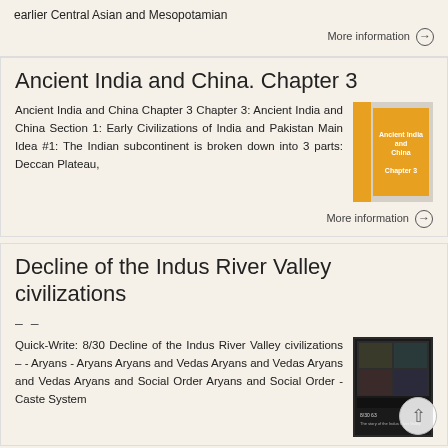earlier Central Asian and Mesopotamian
More information →
Ancient India and China. Chapter 3
Ancient India and China Chapter 3 Chapter 3: Ancient India and China Section 1: Early Civilizations of India and Pakistan Main Idea #1: The Indian subcontinent is broken down into 3 parts: Deccan Plateau,
[Figure (illustration): Thumbnail image of Ancient India and China chapter book cover with orange sidebar and text]
More information →
Decline of the Indus River Valley civilizations
– –
Quick-Write: 8/30 Decline of the Indus River Valley civilizations – - Aryans - Aryans Aryans and Vedas Aryans and Vedas Aryans and Vedas Aryans and Social Order Aryans and Social Order - Caste System
[Figure (illustration): Thumbnail image showing Indus River Valley scene with people and landscape]